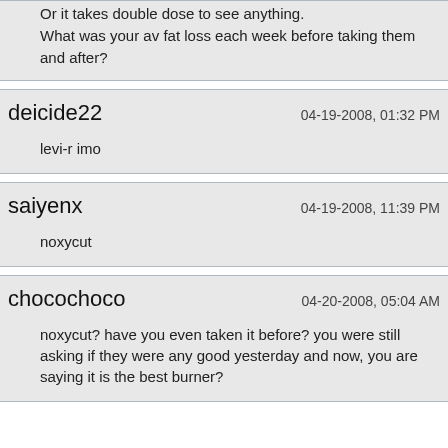Or it takes double dose to see anything.
What was your av fat loss each week before taking them and after?
deicide22	04-19-2008, 01:32 PM
levi-r imo
saiyenx	04-19-2008, 11:39 PM
noxycut
chocochoco	04-20-2008, 05:04 AM
noxycut? have you even taken it before? you were still asking if they were any good yesterday and now, you are saying it is the best burner?